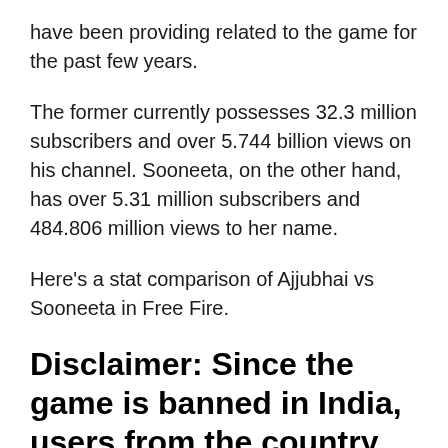have been providing related to the game for the past few years.
The former currently possesses 32.3 million subscribers and over 5.744 billion views on his channel. Sooneeta, on the other hand, has over 5.31 million subscribers and 484.806 million views to her name.
Here's a stat comparison of Ajjubhai vs Sooneeta in Free Fire.
Disclaimer: Since the game is banned in India, users from the country are recommended to avoid the